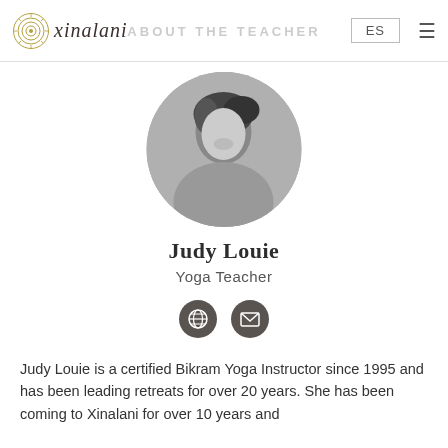ABOUT THE TEACHER | ES | xinalani
[Figure (photo): Circular black and white portrait photo of Judy Louie, smiling, with hair blowing in wind, wearing a light top.]
Judy Louie
Yoga Teacher
[Figure (infographic): Two dark circular icon buttons: a globe/website icon and an email envelope icon.]
Judy Louie is a certified Bikram Yoga Instructor since 1995 and has been leading retreats for over 20 years. She has been coming to Xinalani for over 10 years and